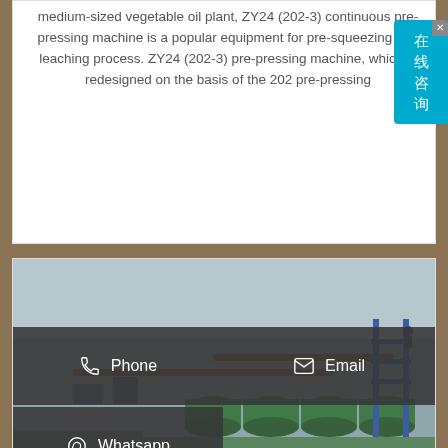medium-sized vegetable oil plant, ZY24 (202-3) continuous pre-pressing machine is a popular equipment for pre-squeezing and leaching process. ZY24 (202-3) pre-pressing machine, which is redesigned on the basis of the 202 pre-pressing
Send Inquiry
[Figure (photo): Industrial vegetable oil processing plant equipment with green cylindrical tanks, blue metal framework, pipes and machinery]
Phone
Email
Whatsapp